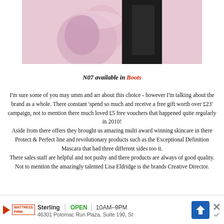[Figure (photo): Photo of No7 beauty products including a pink nail polish or lip product and a dark mascara or eyeliner tube on a light surface]
N07 available in Boots
I'm sure some of you may umm and arr about this choice - however I'm talking about the brand as a whole. There constant 'spend so much and receive a free gift worth over £23' campaign, not to mention there much loved £5 free vouchers that happened quite regularly in 2010! Aside from there offers they brought us amazing multi award winning skincare in there Protect & Perfect line and revolutionary products such as the Exceptional Definition Mascara that had three different sides too it. There sales staff are helpful and not pushy and there products are always of good quality. Not to mention the amazingly talented Lisa Eldridge is the brands Creative Director.
Best Beauty Website
[Figure (screenshot): Advertisement banner: Mattress Firm Sterling, OPEN 10AM-9PM, 46301 Potomac Run Plaza, Suite 190, St with navigation icon and close button]